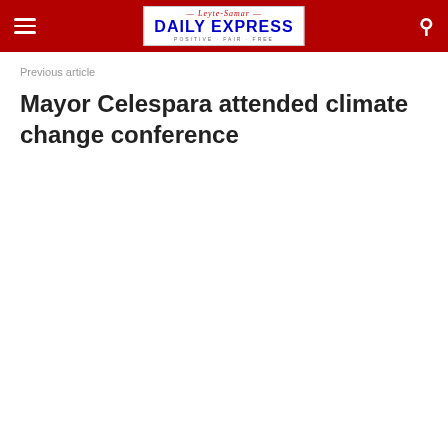Leyte-Samar DAILY EXPRESS POSITIVE · FAIR · FREE
Previous article
Mayor Celespara attended climate change conference